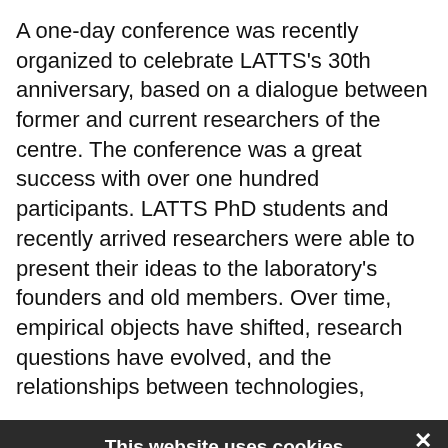A one-day conference was recently organized to celebrate LATTS's 30th anniversary, based on a dialogue between former and current researchers of the centre. The conference was a great success with over one hundred participants. LATTS PhD students and recently arrived researchers were able to present their ideas to the laboratory's founders and old members. Over time, empirical objects have shifted, research questions have evolved, and the relationships between technologies,
[Figure (screenshot): Cookie consent modal overlay with dark background. Title: 'This website uses cookies'. Body text about cookie policy. Three checkboxes: PERFORMANCE, TARGETING, FUNCTIONALITY. Two buttons: ACCEPT ALL (green) and DECLINE ALL (outlined). Show details link with gear icon. Close (×) button in top right.]